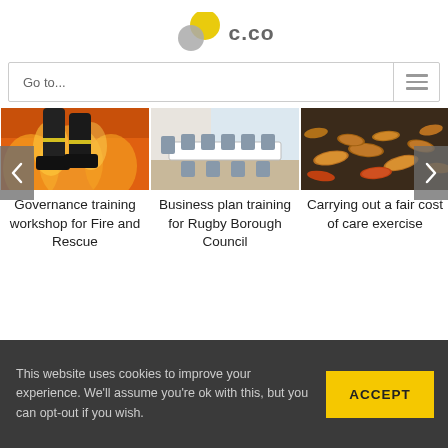[Figure (logo): c.co logo with two overlapping circles (yellow and grey) and text 'c.co']
Go to...
[Figure (photo): Firefighter boots in flames]
[Figure (photo): Conference room with white table and grey chairs]
[Figure (photo): Coins on a surface - cost of care]
Governance training workshop for Fire and Rescue
Business plan training for Rugby Borough Council
Carrying out a fair cost of care exercise
This website uses cookies to improve your experience. We'll assume you're ok with this, but you can opt-out if you wish.